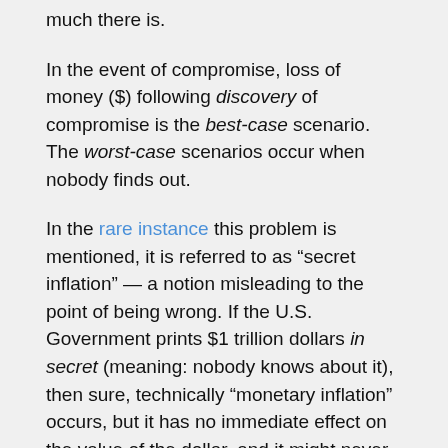much there is.
In the event of compromise, loss of money ($) following discovery of compromise is the best-case scenario. The worst-case scenarios occur when nobody finds out.
In the rare instance this problem is mentioned, it is referred to as “secret inflation” — a notion misleading to the point of being wrong. If the U.S. Government prints $1 trillion dollars in secret (meaning: nobody knows about it), then sure, technically “monetary inflation” occurs, but it has no immediate effect on the value of the dollar, and it might never have a noticeable effect. Those dollars are just as capable of financing wars as all other dollars, and their impact on the value of the